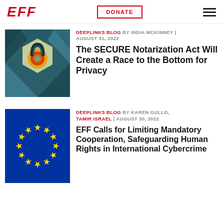EFF | DONATE | menu
[Figure (illustration): Padlock icon on dark teal hexagonal background with triangular geometric pattern]
DEEPLINKS BLOG BY INDIA MCKINNEY | AUGUST 31, 2022
The SECURE Notarization Act Will Create a Race to the Bottom for Privacy
[Figure (illustration): European Union flag — blue background with circle of 12 yellow stars]
DEEPLINKS BLOG BY KAREN GULLO, TAMIR ISRAEL | AUGUST 30, 2022
EFF Calls for Limiting Mandatory Cooperation, Safeguarding Human Rights in International Cybercrime